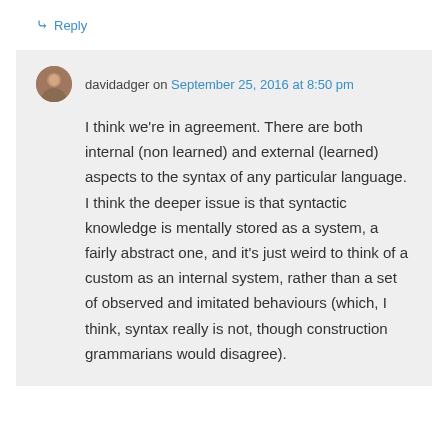↳ Reply
davidadger on September 25, 2016 at 8:50 pm
I think we're in agreement. There are both internal (non learned) and external (learned) aspects to the syntax of any particular language. I think the deeper issue is that syntactic knowledge is mentally stored as a system, a fairly abstract one, and it's just weird to think of a custom as an internal system, rather than a set of observed and imitated behaviours (which, I think, syntax really is not, though construction grammarians would disagree).